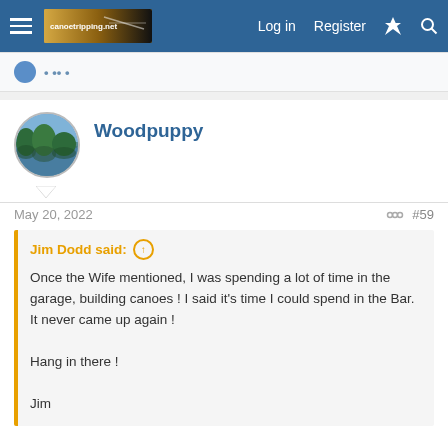Log in  Register
Woodpuppy
May 20, 2022  #59
Jim Dodd said: ↑

Once the Wife mentioned, I was spending a lot of time in the garage, building canoes ! I said it's time I could spend in the Bar. It never came up again !

Hang in there !

Jim
Ain't that the truth. I always tell my wife I could be spending it on something stupid(er). Course, I don't have money like Charlie Sheen!